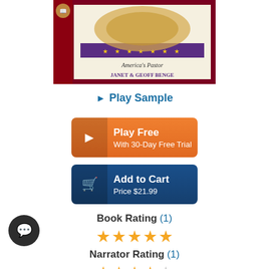[Figure (illustration): Audiobook cover for a book about America's Pastor by Janet & Geoff Benge, showing a decorative cover with a US map illustration, purple banner with stars, dark red border, and 'Audio' text on the left spine.]
▶ Play Sample
Play Free
With 30-Day Free Trial
Add to Cart
Price $21.99
Book Rating (1)
[Figure (other): Five gold star rating icons]
Narrator Rating (1)
[Figure (other): Star rating icons for narrator, partially filled]